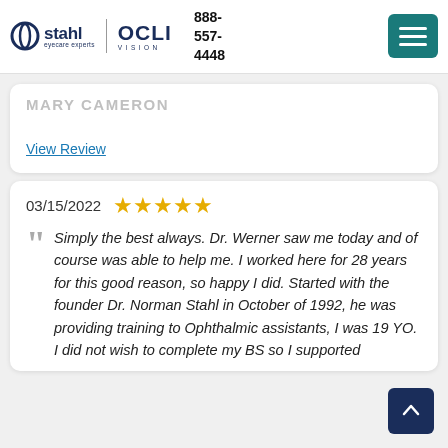Stahl | OCLI Vision   888-557-4448
MARY CAMERON
View Review
03/15/2022 ★★★★★
Simply the best always. Dr. Werner saw me today and of course was able to help me. I worked here for 28 years for this good reason, so happy I did. Started with the founder Dr. Norman Stahl in October of 1992, he was providing training to Ophthalmic assistants, I was 19 YO. I did not wish to complete my BS so I supported